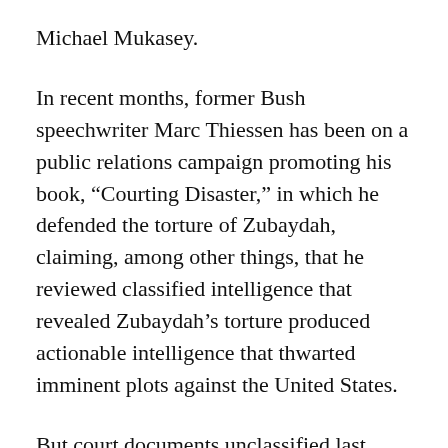Michael Mukasey.
In recent months, former Bush speechwriter Marc Thiessen has been on a public relations campaign promoting his book, “Courting Disaster,” in which he defended the torture of Zubaydah, claiming, among other things, that he reviewed classified intelligence that revealed Zubaydah’s torture produced actionable intelligence that thwarted imminent plots against the United States.
But court documents unclassified last week debunk Thiessen’s assertions as well as those made by, among others, George W. Bush, who said Zubaydah was one of al-Qaeda’s “top